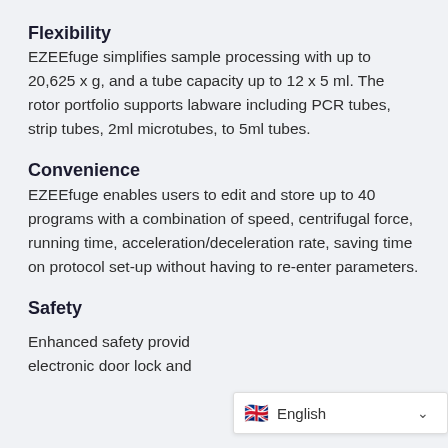Flexibility
EZEEfuge simplifies sample processing with up to 20,625 x g, and a tube capacity up to 12 x 5 ml. The rotor portfolio supports labware including PCR tubes, strip tubes, 2ml microtubes, to 5ml tubes.
Convenience
EZEEfuge enables users to edit and store up to 40 programs with a combination of speed, centrifugal force, running time, acceleration/deceleration rate, saving time on protocol set-up without having to re-enter parameters.
Safety
Enhanced safety provid… electronic door lock and…